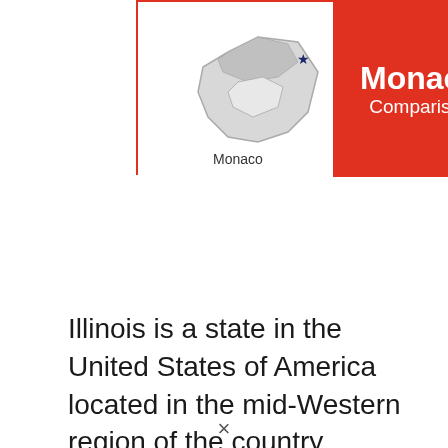[Figure (map): Map of Monaco with label and red banner showing 'Monaco Comparison']
Illinois is a state in the United States of America located in the mid-Western region of the country, whereas Monaco is a country in Western